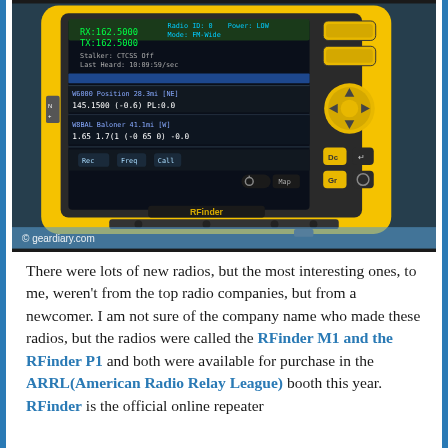[Figure (photo): Close-up photo of a yellow rugged RFinder handheld radio device with a touchscreen display showing frequency information (RX: 162.5000, TX: 162.5000) and repeater data. The device has yellow navigation buttons on the right side. Watermark reads '© geardiary.com'.]
There were lots of new radios, but the most interesting ones, to me, weren't from the top radio companies, but from a newcomer. I am not sure of the company name who made these radios, but the radios were called the RFinder M1 and the RFinder P1 and both were available for purchase in the ARRL(American Radio Relay League) booth this year. RFinder is the official online repeater